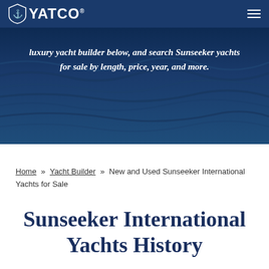YATCO
[Figure (photo): Ocean waves background image with dark blue water. Overlaid italic white text: 'luxury yacht builder below, and search Sunseeker yachts for sale by length, price, year, and more.']
Home » Yacht Builder » New and Used Sunseeker International Yachts for Sale
Sunseeker International Yachts History